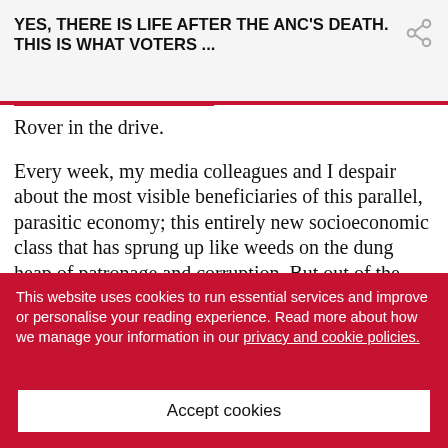YES, THERE IS LIFE AFTER THE ANC'S DEATH. THIS IS WHAT VOTERS ...
Rover in the drive.
Every week, my media colleagues and I despair about the most visible beneficiaries of this parallel, parasitic economy; this entirely new socioeconomic class that has sprung up like weeds on the dung heap of patronage and corruption. But out of the glare of the headlines, living quiet, law-abiding, god-fearing lives, there are millions of South Africans, from business owners to bureaucrats to grandmothers relying on social grants, who believe that the state is the ANC
This website uses cookies to run essential services and improve or personalise your reading experience. Read more about how we manage your information in our privacy and cookie policies.
Accept cookies